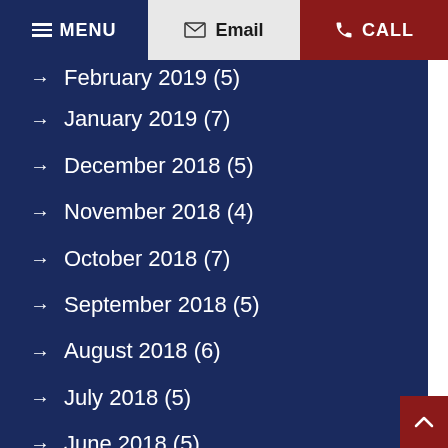MENU | Email | CALL
→ February 2019 (5)
→ January 2019 (7)
→ December 2018 (5)
→ November 2018 (4)
→ October 2018 (7)
→ September 2018 (5)
→ August 2018 (6)
→ July 2018 (5)
→ June 2018 (5)
→ May 2018 (5)
→ April 2018 (6)